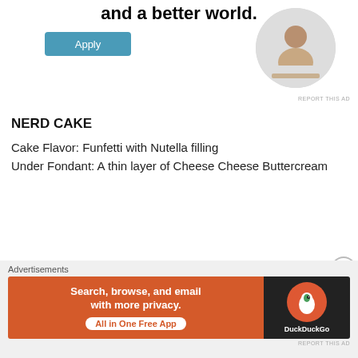and a better world.
[Figure (photo): Advertisement with Apply button and circular photo of a man thinking at a desk]
REPORT THIS AD
NERD CAKE
Cake Flavor: Funfetti with Nutella filling
Under Fondant: A thin layer of Cheese Cheese Buttercream
Choco-Pan Fondant in Black
Geek Kit Sugars
Gumballs in Red
Red Sixlets
Advertisements
[Figure (screenshot): DuckDuckGo advertisement banner: Search, browse, and email with more privacy. All in One Free App]
REPORT THIS AD